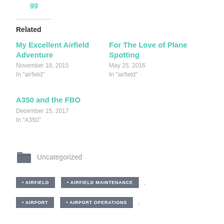Related
My Excellent Airfield Adventure
November 18, 2015
In "airfield"
For The Love of Plane Spotting
May 25, 2016
In "airfield"
A350 and the FBO
December 15, 2017
In "A350"
Uncategorized
• AIRFIELD
• AIRFIELD MAINTENANCE
• AIRPORT
• AIRPORT OPERATIONS